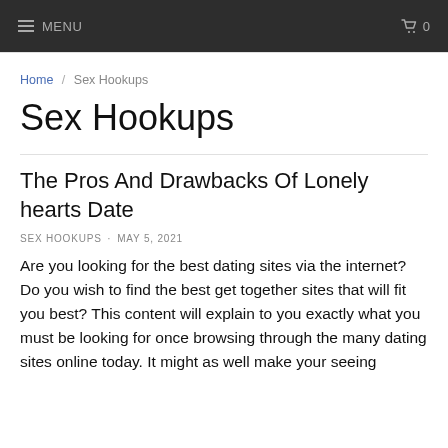MENU  0
Home / Sex Hookups
Sex Hookups
The Pros And Drawbacks Of Lonely hearts Date
SEX HOOKUPS · MAY 5, 2021
Are you looking for the best dating sites via the internet? Do you wish to find the best get together sites that will fit you best? This content will explain to you exactly what you must be looking for once browsing through the many dating sites online today. It might as well make your seeing